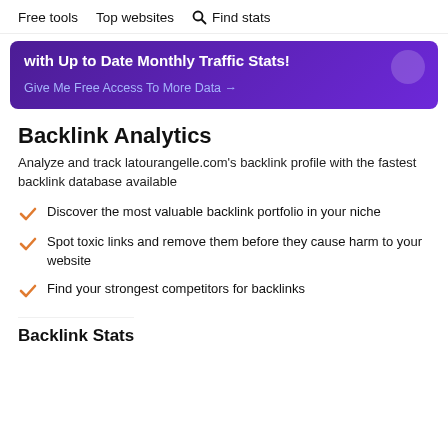Free tools   Top websites   Find stats
[Figure (infographic): Purple gradient promotional banner with white bold text 'with Up to Date Monthly Traffic Stats!' and a light purple link 'Give Me Free Access To More Data →'. A semi-transparent circle is in the top right.]
Backlink Analytics
Analyze and track latourangelle.com's backlink profile with the fastest backlink database available
Discover the most valuable backlink portfolio in your niche
Spot toxic links and remove them before they cause harm to your website
Find your strongest competitors for backlinks
Backlink Stats